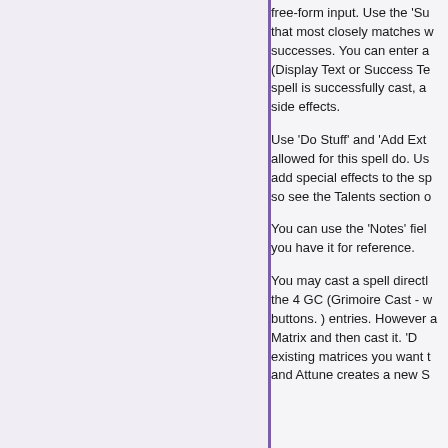free-form input. Use the 'Su that most closely matches w successes. You can enter a (Display Text or Success Te spell is successfully cast, a side effects.
Use 'Do Stuff' and 'Add Ext allowed for this spell do. Us add special effects to the sp so see the Talents section o
You can use the 'Notes' fiel you have it for reference.
You may cast a spell direct the 4 GC (Grimoire Cast - w buttons. ) entries. However a Matrix and then cast it. 'D existing matrices you want t and Attune creates a new S